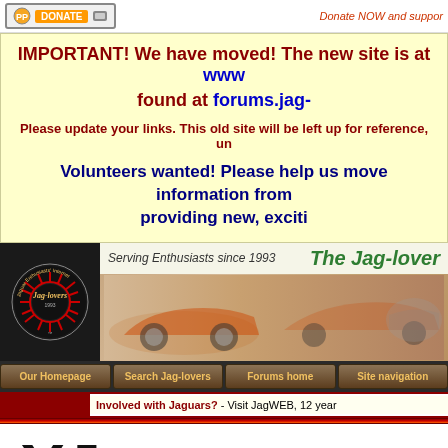Donate NOW and support
IMPORTANT! We have moved! The new site is at www... found at forums.jag-
Please update your links. This old site will be left up for reference, un
Volunteers wanted! Please help us move information from... providing new, exciti
[Figure (logo): Jag-lovers Jaguar Enthusiasts Internet Resource logo - circular badge with red spokes]
Serving Enthusiasts since 1993
The Jag-lover
[Figure (photo): Banner with orange/red Jaguar cars]
Our Homepage | Search Jag-lovers | Forums home | Site navigation
Involved with Jaguars? - Visit JagWEB, 12 year
XJLovers